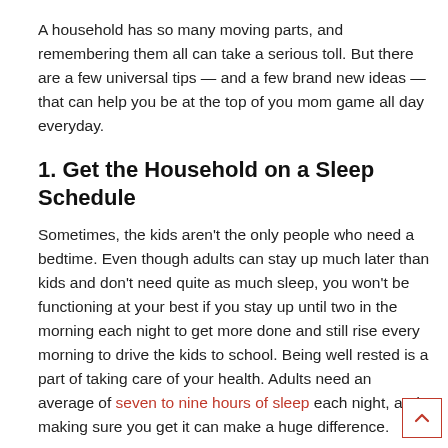A household has so many moving parts, and remembering them all can take a serious toll. But there are a few universal tips — and a few brand new ideas — that can help you be at the top of you mom game all day everyday.
1. Get the Household on a Sleep Schedule
Sometimes, the kids aren't the only people who need a bedtime. Even though adults can stay up much later than kids and don't need quite as much sleep, you won't be functioning at your best if you stay up until two in the morning each night to get more done and still rise every morning to drive the kids to school. Being well rested is a part of taking care of your health. Adults need an average of seven to nine hours of sleep each night, and making sure you get it can make a huge difference.
2. Keep a Comprehensive Planner
Sometimes, a day planner or haphazard to-do list just doesn't cut